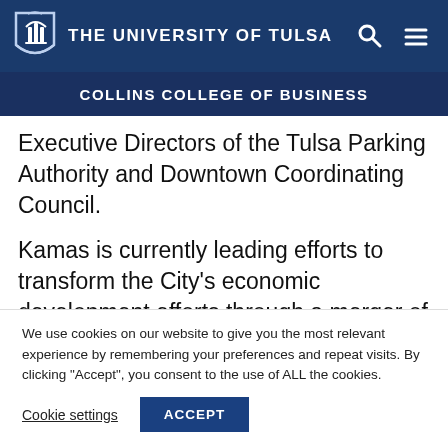THE UNIVERSITY OF TULSA
COLLINS COLLEGE OF BUSINESS
Executive Directors of the Tulsa Parking Authority and Downtown Coordinating Council.
Kamas is currently leading efforts to transform the City's economic development efforts through a merger of five separate public entities, placing
We use cookies on our website to give you the most relevant experience by remembering your preferences and repeat visits. By clicking "Accept", you consent to the use of ALL the cookies.
Cookie settings
ACCEPT